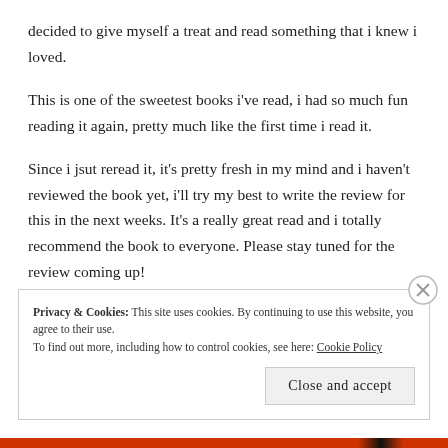decided to give myself a treat and read something that i knew i loved.
This is one of the sweetest books i've read, i had so much fun reading it again, pretty much like the first time i read it.
Since i jsut reread it, it's pretty fresh in my mind and i haven't reviewed the book yet, i'll try my best to write the review for this in the next weeks. It's a really great read and i totally recommend the book to everyone. Please stay tuned for the review coming up!
Privacy & Cookies: This site uses cookies. By continuing to use this website, you agree to their use. To find out more, including how to control cookies, see here: Cookie Policy
Close and accept